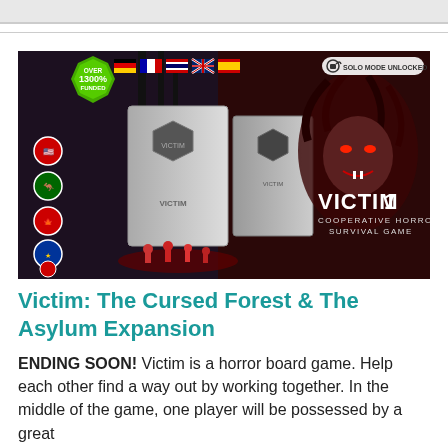[Figure (illustration): Promotional banner for 'Victim: The Cursed Forest & The Asylum Expansion' board game. Shows game boxes with miniatures, a vampire/monster character on the right, country flags at the top, a green badge reading 'Over 1300% Funded', and a 'Solo Mode Unlocked' badge. Text 'VICTIM1 Cooperative Horror Survival Game' on the right side.]
Victim: The Cursed Forest & The Asylum Expansion
ENDING SOON! Victim is a horror board game. Help each other find a way out by working together. In the middle of the game, one player will be possessed by a great...